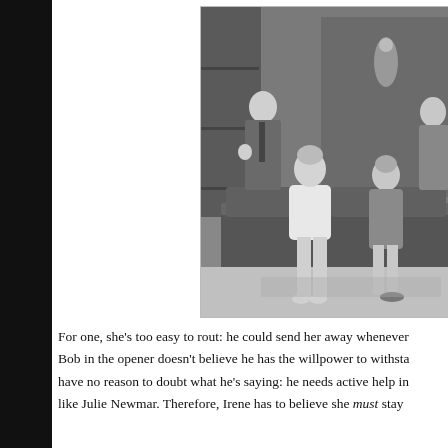[Figure (photo): Black and white photo of four people in a mid-century modern living room setting. A woman in a white strapless outfit sits on a couch barefoot in the center; another woman in a dress sits to her right. Two men stand behind them, one gesturing with his hands. A decorative sculpture is visible on a shelving unit in the background.]
For one, she's too easy to rout: he could send her away whenever he wished. Bob in the opener doesn't believe he has the willpower to withstand someone like Julie Newmar. Therefore, Irene has to believe she must stay